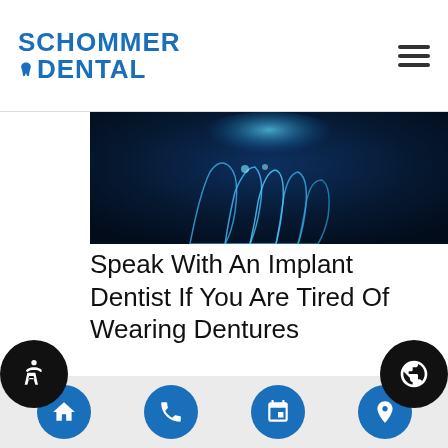SCHOMMER DENTAL
[Figure (photo): Blue glowing dental x-ray / teeth illustration on dark background]
Speak With An Implant Dentist If You Are Tired Of Wearing Dentures
As an implant dentist, we work with many patients who need to replace their teeth and are looking for a more secure way to do so than dentures. While dentures have stood the test of time, providing a dependable replacement for natural teeth, they can never fully compare to natural teeth because they are removable…
Home | Phone | Schedule | Location